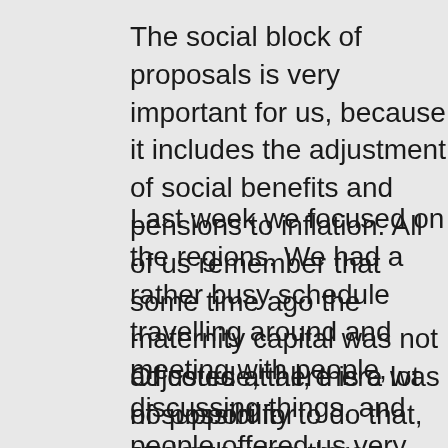The social block of proposals is very important for us, because it includes the adjustment of social benefits and pensions to inflation. All of us remember that some time ago the maternity capital was not adjusted at all, there was no possibility to do that, and pensions were adjusted only partially. This requirement has now been added to the Constitution, which is very important for the people.
Last week we focused on the regions. We had a rather busy schedule travelling around and meeting with people, discussing things, and people offered us very positive feedback. In fact, the issue that Mr Mironov mentioned, questions about adjustment of pensions for inflation for working pensioners, needs to be more thoroughly considered.
Of course, there is a lot of support for strengthening the sovereignty and independence of our country. People are raising these matters very actively. Of course, other frequently discussed matters include support of families, children and other areas, such as culture, and everything reflected in the Constitution. People raised a great